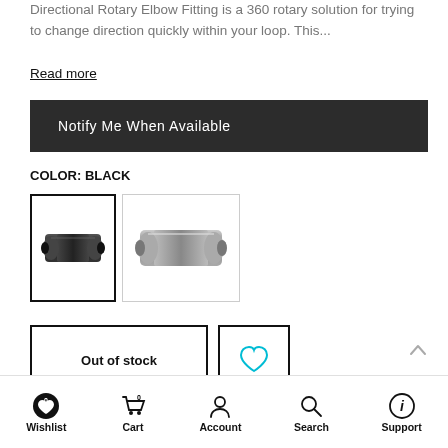Directional Rotary Elbow Fitting is a 360 rotary solution for trying to change direction quickly within your loop. This...
Read more
Notify Me When Available
COLOR: BLACK
[Figure (photo): Black cylindrical rotary elbow fitting swatch (selected, black border)]
[Figure (photo): Silver cylindrical rotary elbow fitting swatch (unselected, grey border)]
Out of stock
[Figure (illustration): Heart/wishlist icon button (cyan outline heart)]
Wishlist  Cart  Account  Search  Support